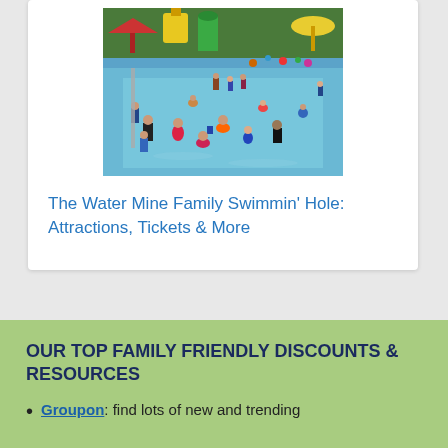[Figure (photo): Crowded outdoor water park pool with many people swimming and playing, colorful play structures visible in background]
The Water Mine Family Swimmin' Hole: Attractions, Tickets & More
OUR TOP FAMILY FRIENDLY DISCOUNTS & RESOURCES
Groupon: find lots of new and trending